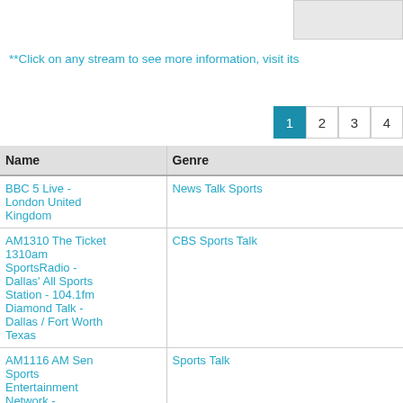**Click on any stream to see more information, visit its
| Name | Genre |
| --- | --- |
| BBC 5 Live - London United Kingdom | News Talk Sports |
| AM1310 The Ticket 1310am SportsRadio - Dallas' All Sports Station - 104.1fm Diamond Talk - Dallas / Fort Worth Texas | CBS Sports Talk |
| AM1116 AM Sen Sports Entertainment Network - | Sports Talk |